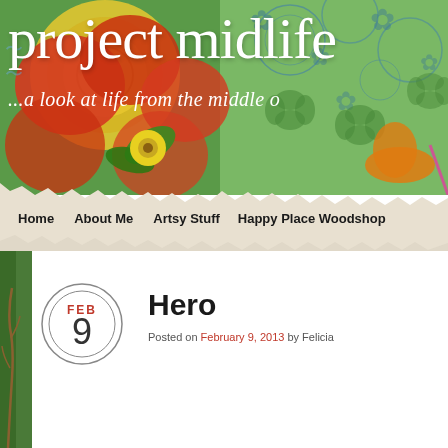[Figure (illustration): Colorful floral folk-art header banner with red flowers, green leaves, yellow flower, circular mandala patterns, and decorative blue tile patterns on green background]
project midlife
...a look at life from the middle o
[Figure (illustration): Torn paper texture strip used as navigation bar background]
Home   About Me   Artsy Stuff   Happy Place Woodshop
[Figure (illustration): Left side decorative art strip with branch/botanical motif on green background]
[Figure (illustration): Date circle widget showing FEB 9 with double circle border]
Hero
Posted on February 9, 2013 by Felicia